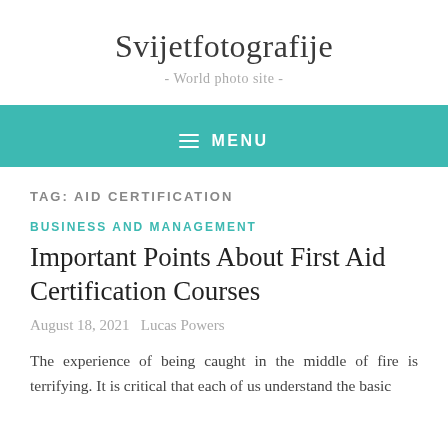Svijetfotografije
- World photo site -
≡ MENU
TAG: AID CERTIFICATION
BUSINESS AND MANAGEMENT
Important Points About First Aid Certification Courses
August 18, 2021   Lucas Powers
The experience of being caught in the middle of fire is terrifying. It is critical that each of us understand the basic